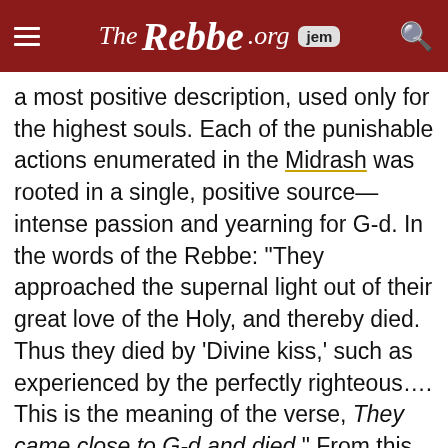TheRebbe.org [jem]
a most positive description, used only for the highest souls. Each of the punishable actions enumerated in the Midrash was rooted in a single, positive source—intense passion and yearning for G-d. In the words of the Rebbe: “They approached the supernal light out of their great love of the Holy, and thereby died. Thus they died by ‘Divine kiss,’ such as experienced by the perfectly righteous…. This is the meaning of the verse, They came close to G-d and died.” From this perspective, it becomes clear that Nadav and Avihu died of a spiritual overdose—too much of a good thing.

Jewish tradition teaches that we are here for a reason, which is to elevate and sanctify the material world, not